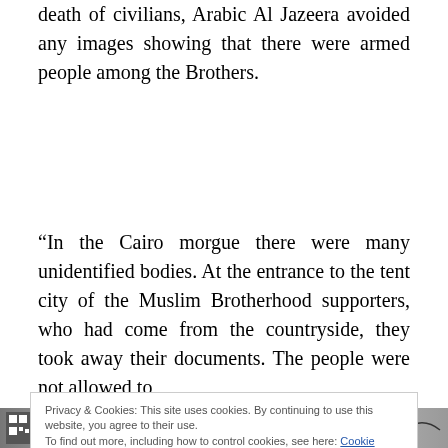death of civilians, Arabic Al Jazeera avoided any images showing that there were armed people among the Brothers.
“In the Cairo morgue there were many unidentified bodies. At the entrance to the tent city of the Muslim Brotherhood supporters, who had come from the countryside, they took away their documents. The people were not allowed to
Privacy & Cookies: This site uses cookies. By continuing to use this website, you agree to their use.
To find out more, including how to control cookies, see here: Cookie Policy
[Figure (photo): Partial bottom image showing what appears to be handwritten documents or papers with Arabic text and some printed elements including a QR code on the left side.]